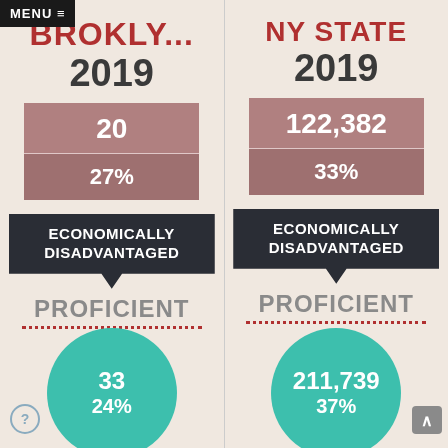MENU ≡
BROOKLY...
2019
20
27%
ECONOMICALLY DISADVANTAGED
PROFICIENT
33
24%
NY STATE
2019
122,382
33%
ECONOMICALLY DISADVANTAGED
PROFICIENT
211,739
37%